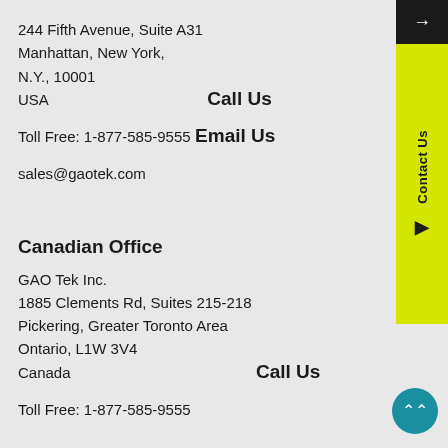244 Fifth Avenue, Suite A31
Manhattan, New York,
N.Y., 10001
USA
Call Us
Toll Free: 1-877-585-9555
Email Us
sales@gaotek.com
Canadian Office
GAO Tek Inc.
1885 Clements Rd, Suites 215-218
Pickering, Greater Toronto Area
Ontario, L1W 3V4
Canada
Call Us
Toll Free: 1-877-585-9555